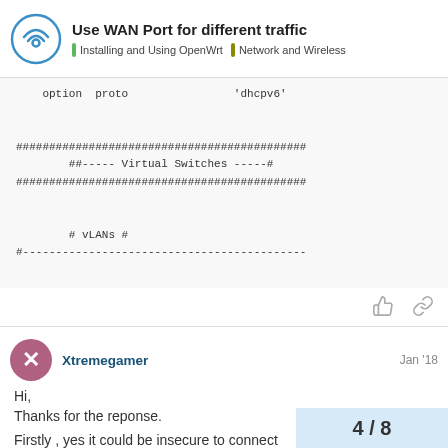Use WAN Port for different traffic | Installing and Using OpenWrt | Network and Wireless
option  proto                'dhcpv6'

############################################
        ##----- Virtual Switches -----#
############################################

        # vLANs #
#-------------------------------------------
Xtremegamer  Jan '18
Hi,
Thanks for the reponse.
Firstly , yes it could be insecure to connect
4 / 8